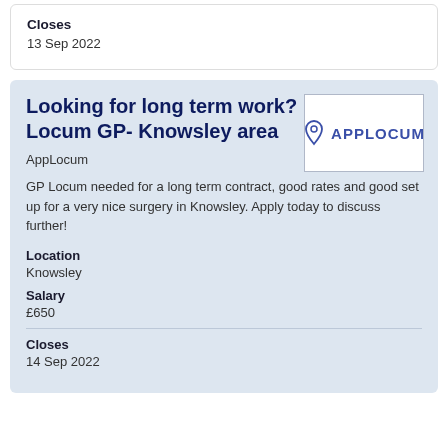Closes
13 Sep 2022
Looking for long term work? Locum GP- Knowsley area
AppLocum
GP Locum needed for a long term contract, good rates and good set up for a very nice surgery in Knowsley. Apply today to discuss further!
Location
Knowsley
Salary
£650
Closes
14 Sep 2022